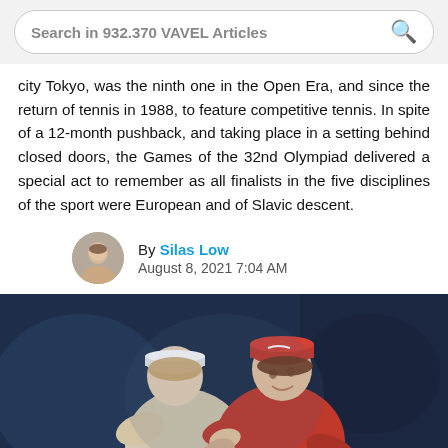Search in 932.370 VAVEL Articles
city Tokyo, was the ninth one in the Open Era, and since the return of tennis in 1988, to feature competitive tennis. In spite of a 12-month pushback, and taking place in a setting behind closed doors, the Games of the 32nd Olympiad delivered a special act to remember as all finalists in the five disciplines of the sport were European and of Slavic descent.
By Silas Low
August 8, 2021 7:04 AM
[Figure (photo): Two female tennis players hugging on a tennis court, one wearing a white visor and one wearing a red Nike cap and red outfit, appears to be from the Tokyo 2021 Olympics tennis event.]